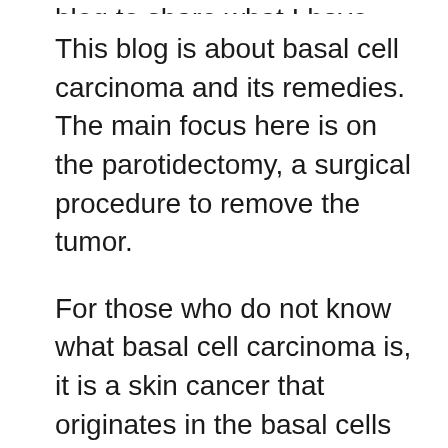blog to share what I have learned in this
This blog is about basal cell carcinoma and its remedies. The main focus here is on the parotidectomy, a surgical procedure to remove the tumor.
For those who do not know what basal cell carcinoma is, it is a skin cancer that originates in the basal cells of the epidermis (the outermost layer of the skin). The most common form of skin cancer, it can be found anywhere on the body. It is also known as rodent ulcer.
Treatment for this kind of cancer varies from person to person, depending upon their age, medical history and overall health. However, some